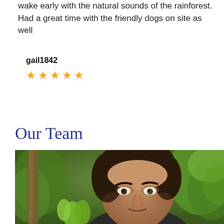wake early with the natural sounds of the rainforest. Had a great time with the friendly dogs on site as well
gail1842
[Figure (other): Five orange star rating icons]
Our Team
[Figure (photo): Close-up portrait of a middle-aged man with dark hair outdoors in a tropical rainforest setting with green foliage and tree trunks visible in the background]